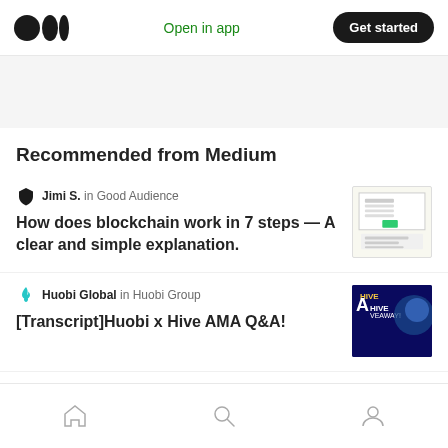Medium logo | Open in app | Get started
Recommended from Medium
Jimi S. in Good Audience — How does blockchain work in 7 steps — A clear and simple explanation.
Huobi Global in Huobi Group — [Transcript]Huobi x Hive AMA Q&A!
John Hill
Home | Search | Profile